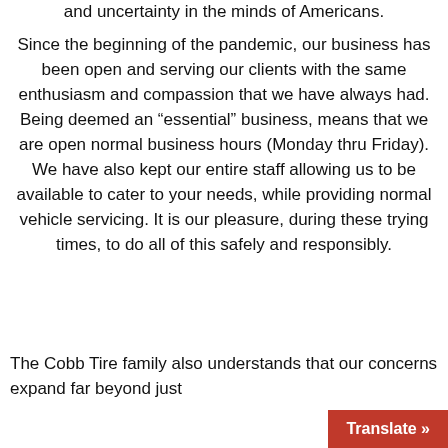and uncertainty in the minds of Americans. Since the beginning of the pandemic, our business has been open and serving our clients with the same enthusiasm and compassion that we have always had. Being deemed an "essential" business, means that we are open normal business hours (Monday thru Friday). We have also kept our entire staff allowing us to be available to cater to your needs, while providing normal vehicle servicing. It is our pleasure, during these trying times, to do all of this safely and responsibly.
The Cobb Tire family also understands that our concerns expand far beyond just